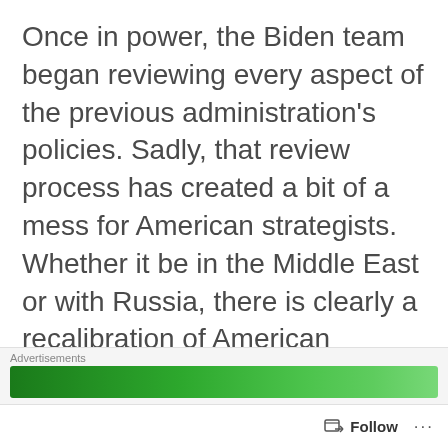Once in power, the Biden team began reviewing every aspect of the previous administration's policies. Sadly, that review process has created a bit of a mess for American strategists. Whether it be in the Middle East or with Russia, there is clearly a recalibration of American priorities and policies…and not all of them for the better.
Some of this is understandable and welcome. When it comes to the Indo-Pacific, the most important area of the world for the United States…
Advertisements
Follow ···